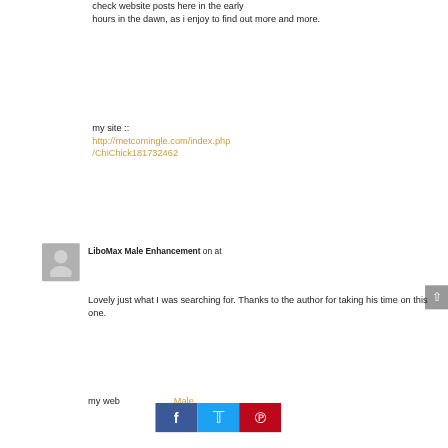check website posts here in the early hours in the dawn, as i enjoy to find out more and more.
my site :: http://metcomingle.com/index.php/ChiChick181732462
LiboMax Male Enhancement on at
[Figure (illustration): Grey avatar placeholder icon showing a silhouette of a person]
Lovely just what I was searching for. Thanks to the author for taking his time on this one.
my web [Male]
[Figure (infographic): Social share buttons: Facebook (blue), Twitter (light blue), Pinterest (red)]